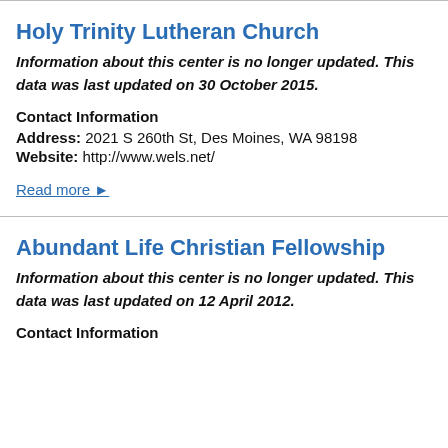Holy Trinity Lutheran Church
Information about this center is no longer updated. This data was last updated on 30 October 2015.
Contact Information
Address: 2021 S 260th St, Des Moines, WA 98198
Website: http://www.wels.net/
Read more ▶
Abundant Life Christian Fellowship
Information about this center is no longer updated. This data was last updated on 12 April 2012.
Contact Information